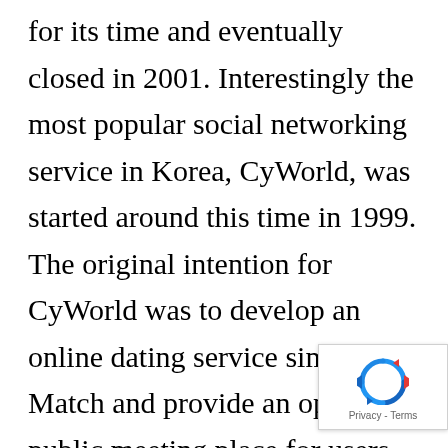for its time and eventually closed in 2001. Interestingly the most popular social networking service in Korea, CyWorld, was started around this time in 1999. The original intention for CyWorld was to develop an online dating service similar to Match and provide an open public meeting place for users to meet online. In 2001, CyWorld launched the minihompy service, a feature that allows each user to create a virtual homepage. This was highly successful as celebrities and politicians took to this platform to reach out to their fans and audience. CyWorld also eventually includ virtual currency called “dottori” in 2002 and a
[Figure (other): reCAPTCHA badge showing rotating arrows icon with Privacy - Terms text]